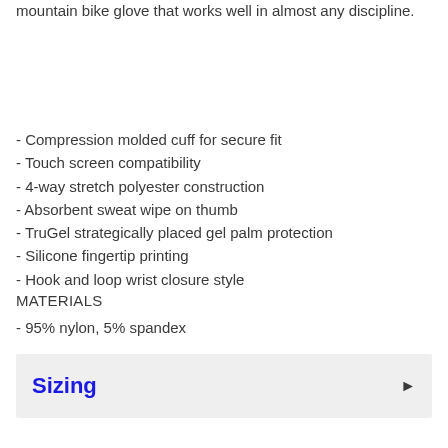mountain bike glove that works well in almost any discipline.
- Compression molded cuff for secure fit
- Touch screen compatibility
- 4-way stretch polyester construction
- Absorbent sweat wipe on thumb
- TruGel strategically placed gel palm protection
- Silicone fingertip printing
- Hook and loop wrist closure style
MATERIALS
- 95% nylon, 5% spandex
Sizing